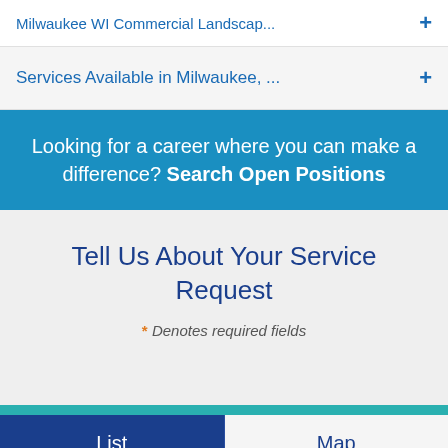Milwaukee WI Commercial Landscap...
Services Available in Milwaukee, ...
Looking for a career where you can make a difference? Search Open Positions
Tell Us About Your Service Request
* Denotes required fields
List
Map